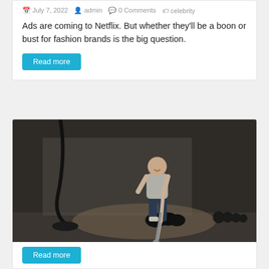July 7, 2022  admin  0 Comments  celebrity
Ads are coming to Netflix. But whether they'll be a boon or bust for fashion brands is the big question.
Read more
[Figure (photo): A bald man in a grey t-shirt and dark shorts standing in a dimly lit gym, holding a steel mace or sledgehammer, with kettlebells and weight equipment in the background.]
Read more